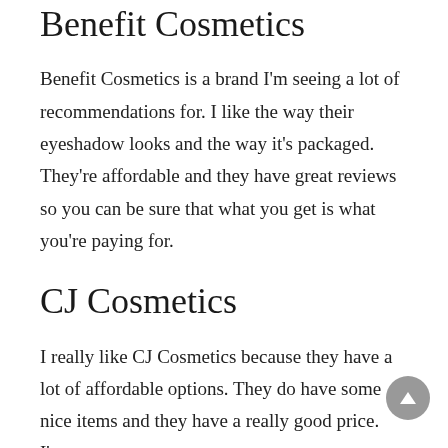Benefit Cosmetics
Benefit Cosmetics is a brand I'm seeing a lot of recommendations for. I like the way their eyeshadow looks and the way it's packaged. They're affordable and they have great reviews so you can be sure that what you get is what you're paying for.
CJ Cosmetics
I really like CJ Cosmetics because they have a lot of affordable options. They do have some nice items and they have a really good price. I'm